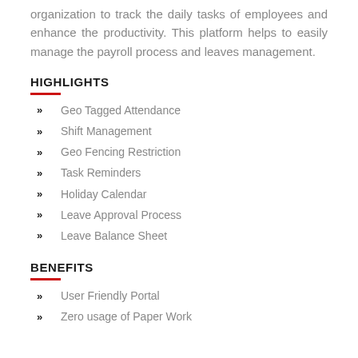organization to track the daily tasks of employees and enhance the productivity. This platform helps to easily manage the payroll process and leaves management.
HIGHLIGHTS
Geo Tagged Attendance
Shift Management
Geo Fencing Restriction
Task Reminders
Holiday Calendar
Leave Approval Process
Leave Balance Sheet
BENEFITS
User Friendly Portal
Zero usage of Paper Work